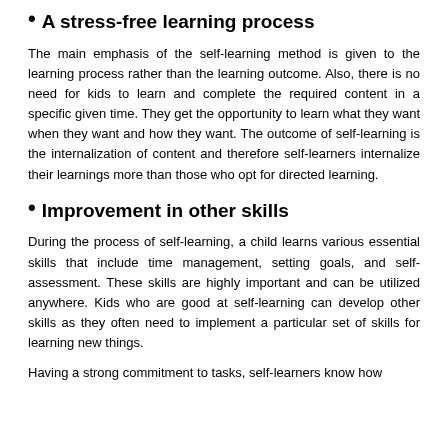• A stress-free learning process
The main emphasis of the self-learning method is given to the learning process rather than the learning outcome. Also, there is no need for kids to learn and complete the required content in a specific given time. They get the opportunity to learn what they want when they want and how they want. The outcome of self-learning is the internalization of content and therefore self-learners internalize their learnings more than those who opt for directed learning.
• Improvement in other skills
During the process of self-learning, a child learns various essential skills that include time management, setting goals, and self-assessment. These skills are highly important and can be utilized anywhere. Kids who are good at self-learning can develop other skills as they often need to implement a particular set of skills for learning new things.
Having a strong commitment to tasks, self-learners know how